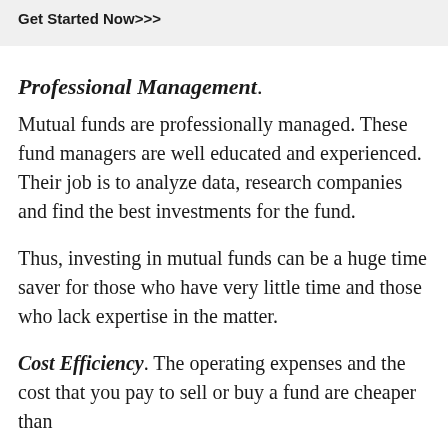Get Started Now>>>
Professional Management.
Mutual funds are professionally managed. These fund managers are well educated and experienced. Their job is to analyze data, research companies and find the best investments for the fund.
Thus, investing in mutual funds can be a huge time saver for those who have very little time and those who lack expertise in the matter.
Cost Efficiency. The operating expenses and the cost that you pay to sell or buy a fund are cheaper than